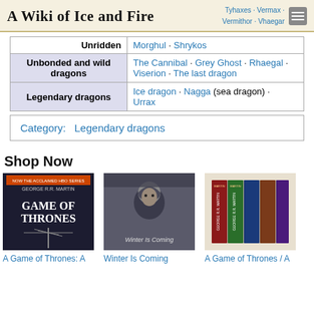A Wiki of Ice and Fire
| Category | Dragons |
| --- | --- |
| Unridden | Morghul · Shrykos |
| Unbonded and wild dragons | The Cannibal · Grey Ghost · Rhaegal · Viserion · The last dragon |
| Legendary dragons | Ice dragon · Nagga (sea dragon) · Urrax |
Category:  Legendary dragons
Shop Now
[Figure (photo): Game of Thrones book/DVD cover by George R.R. Martin]
[Figure (photo): Winter Is Coming - character in dark winter scene]
[Figure (photo): A Game of Thrones book box set]
A Game of Thrones: A
Winter Is Coming
A Game of Thrones / A